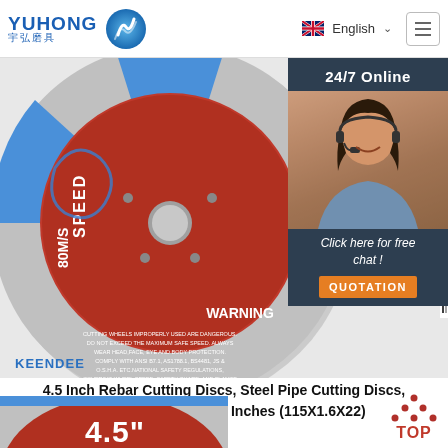[Figure (logo): YUHONG (宇弘磨具) logo with blue wave icon]
[Figure (screenshot): Website header with English language selector and hamburger menu]
[Figure (photo): 4.5 inch cutting disc product photo showing red and blue grinding wheel with KEENDEE brand, SPEED 80M/S, WARNING text, barcode, and safety symbols. Overlaid with 24/7 Online chat widget showing a customer service representative.]
4.5 Inch Rebar Cutting Discs, Steel Pipe Cutting Discs, Angle Ginder Use, 4.5 Inches (115X1.6X22)
[Figure (photo): Bottom portion of a 4.5" cutting disc showing red center with white 4.5" text]